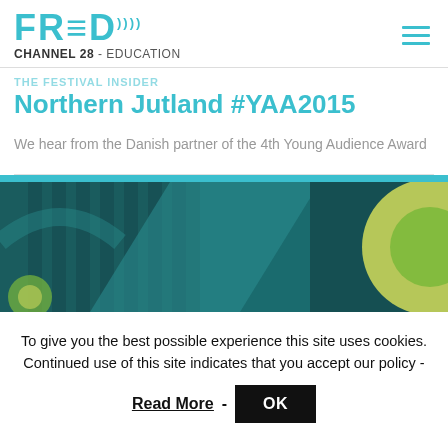FRED CHANNEL 28 - EDUCATION
THE FESTIVAL INSIDER
Northern Jutland #YAA2015
We hear from the Danish partner of the 4th Young Audience Award
[Figure (illustration): Teal and green illustrated graphic with abstract shapes resembling film reels, bars, and circles on a dark teal background]
To give you the best possible experience this site uses cookies. Continued use of this site indicates that you accept our policy -
Read More - OK